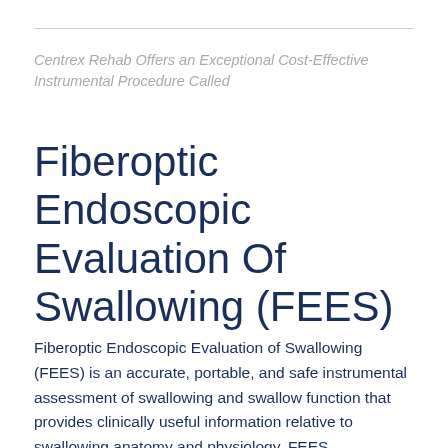Centrex Rehab Offers an Exceptional Cost-Effective Instrumental Procedure Called
Fiberoptic Endoscopic Evaluation Of Swallowing (FEES)
Fiberoptic Endoscopic Evaluation of Swallowing (FEES) is an accurate, portable, and safe instrumental assessment of swallowing and swallow function that provides clinically useful information relative to swallowing anatomy and physiology. FEES